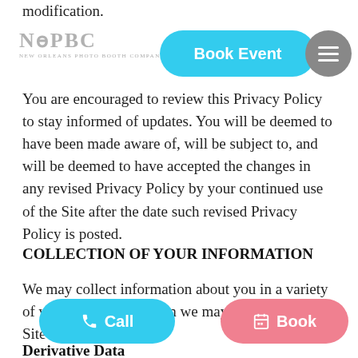modification.
[Figure (logo): New Orleans Photo Booth Company logo with text 'NEW ORLEANS PHOTO BOOTH COMPANY']
[Figure (other): Blue 'Book Event' button and grey hamburger menu icon in header]
You are encouraged to review this Privacy Policy to stay informed of updates. You will be deemed to have been made aware of, will be subject to, and will be deemed to have accepted the changes in any revised Privacy Policy by your continued use of the Site after the date such revised Privacy Policy is posted.
COLLECTION OF YOUR INFORMATION
We may collect information about you in a variety of ways. The information we may collect on the Site includes:
Derivative Data
Information our servers automatically collect
[Figure (other): Blue 'Call' button and pink 'Book' button at bottom of screen]